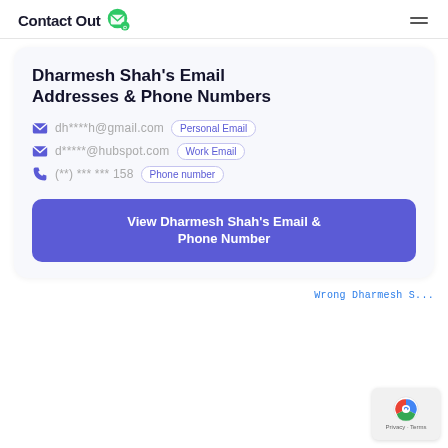ContactOut
Dharmesh Shah's Email Addresses & Phone Numbers
dh****h@gmail.com  Personal Email
d*****@hubspot.com  Work Email
(**) *** *** 158  Phone number
View Dharmesh Shah's Email & Phone Number
Wrong Dharmesh S...